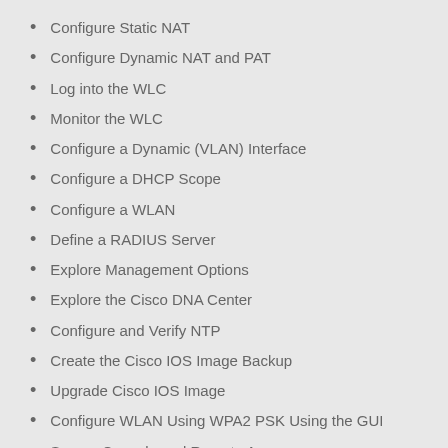Configure Static NAT
Configure Dynamic NAT and PAT
Log into the WLC
Monitor the WLC
Configure a Dynamic (VLAN) Interface
Configure a DHCP Scope
Configure a WLAN
Define a RADIUS Server
Explore Management Options
Explore the Cisco DNA Center
Configure and Verify NTP
Create the Cisco IOS Image Backup
Upgrade Cisco IOS Image
Configure WLAN Using WPA2 PSK Using the GUI
Secure Console and Remote Access
Enable and Limit Remote Access Connectivity